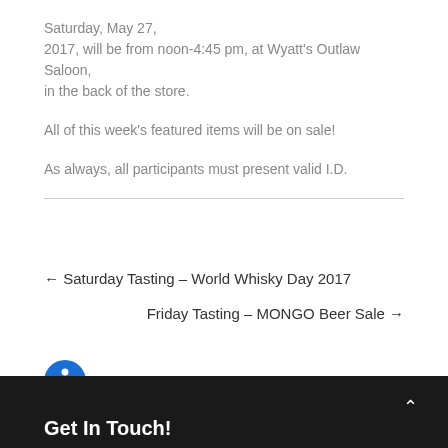Saturday, May 27, 2017, will be from noon-4:45 pm, at Wyatt's Outlaw Saloon, in the back of the store.
All of this week's featured items will be on sale!
As always, all participants must present valid I.D.
← Saturday Tasting – World Whisky Day 2017
Friday Tasting – MONGO Beer Sale →
Get In Touch!